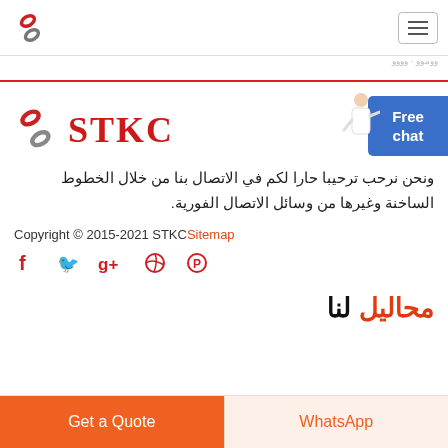[Figure (logo): STKC logo - stylized S chain link in red and gray, top left header]
[Figure (logo): Hamburger menu icon, top right header]
ونحن نرحب ترحيبا حارا لكم في الاتصال بنا من خلال الخطوط الساخنة وغيرها من وسائل الاتصال الفورية.
Copyright © 2015-2021 STKCSitemap
[Figure (infographic): Social media icons row: Facebook, Twitter, Google+, Dribbble, Pinterest — all in red]
لنا محاليل
Get a Quote
WhatsApp